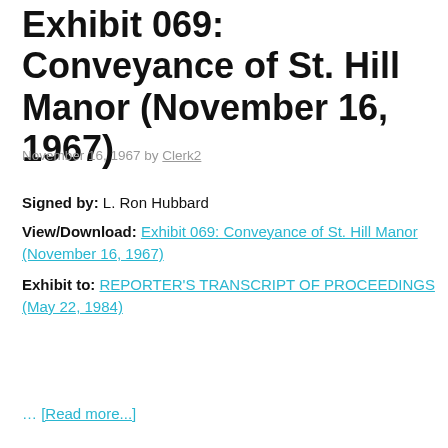Exhibit 069: Conveyance of St. Hill Manor (November 16, 1967)
November 16, 1967 by Clerk2
Signed by: L. Ron Hubbard
View/Download: Exhibit 069: Conveyance of St. Hill Manor (November 16, 1967)
Exhibit to: REPORTER'S TRANSCRIPT OF PROCEEDINGS (May 22, 1984)
… [Read more...]